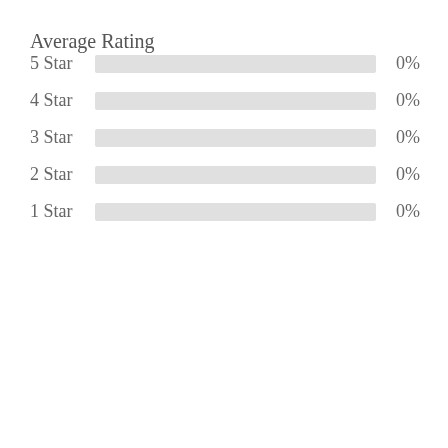Average Rating
[Figure (bar-chart): Average Rating]